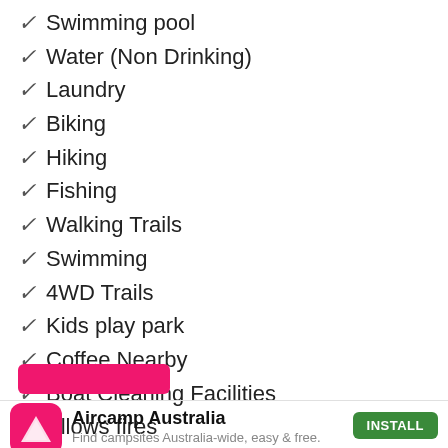✓ Swimming pool
✓ Water (Non Drinking)
✓ Laundry
✓ Biking
✓ Hiking
✓ Fishing
✓ Walking Trails
✓ Swimming
✓ 4WD Trails
✓ Kids play park
✓ Coffee Nearby
✓ Boat Cleaning Facilities
✓ Allows fires
Aircamp Australia — Find campsites Australia-wide, easy & free.